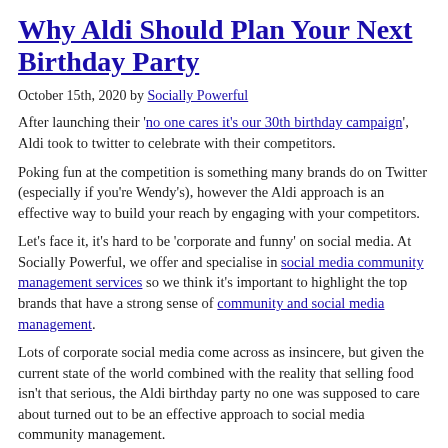Why Aldi Should Plan Your Next Birthday Party
October 15th, 2020 by Socially Powerful
After launching their 'no one cares it's our 30th birthday campaign', Aldi took to twitter to celebrate with their competitors.
Poking fun at the competition is something many brands do on Twitter (especially if you're Wendy's), however the Aldi approach is an effective way to build your reach by engaging with your competitors.
Let's face it, it's hard to be 'corporate and funny' on social media. At Socially Powerful, we offer and specialise in social media community management services so we think it's important to highlight the top brands that have a strong sense of community and social media management.
Lots of corporate social media come across as insincere, but given the current state of the world combined with the reality that selling food isn't that serious, the Aldi birthday party no one was supposed to care about turned out to be an effective approach to social media community management.